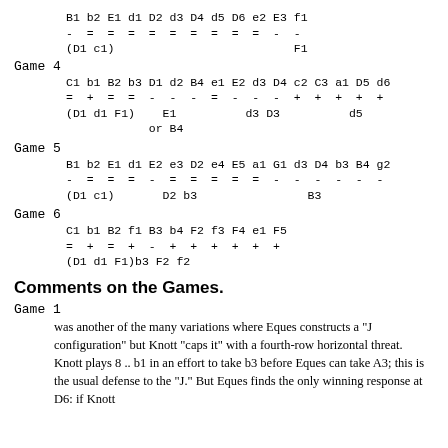B1 b2 E1 d1 D2 d3 D4 d5 D6 e2 E3 f1
-  =  =  =  =  =  =  =  =  =  -  -
(D1 c1)                          F1
Game 4
C1 b1 B2 b3 D1 d2 B4 e1 E2 d3 D4 c2 C3 a1 D5 d6
=  +  =  =  -  -  -  =  -  -  -  +  +  +  +  +
(D1 d1 F1)    E1          d3 D3          d5
            or B4
Game 5
B1 b2 E1 d1 E2 e3 D2 e4 E5 a1 G1 d3 D4 b3 B4 g2
-  =  =  =  -  =  =  =  =  =  -  -  -  -  -  -
(D1 c1)       D2 b3                B3
Game 6
C1 b1 B2 f1 B3 b4 F2 f3 F4 e1 F5
=  +  =  +  -  +  +  +  +  +  +
(D1 d1 F1)b3 F2 f2
Comments on the Games.
Game 1
was another of the many variations where Eques constructs a "J configuration" but Knott "caps it" with a fourth-row horizontal threat. Knott plays 8 .. b1 in an effort to take b3 before Eques can take A3; this is the usual defense to the "J." But Eques finds the only winning response at D6: if Knott